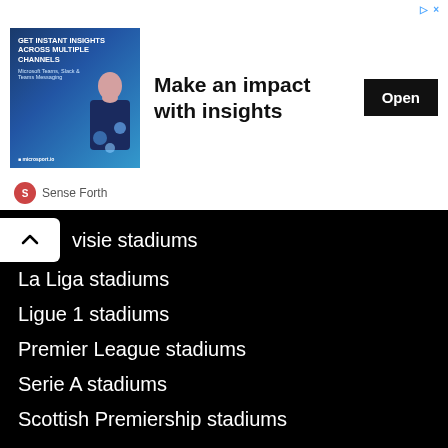[Figure (illustration): Advertisement banner: 'Make an impact with insights' with an image of a woman and an Open button, from Sense Forth]
visie stadiums
La Liga stadiums
Ligue 1 stadiums
Premier League stadiums
Serie A stadiums
Scottish Premiership stadiums
Lists:
Europe's Largest Football Stadiums
Champions League Final venues
Europa League Final venues
World Cup Final venues
Euros Final venues